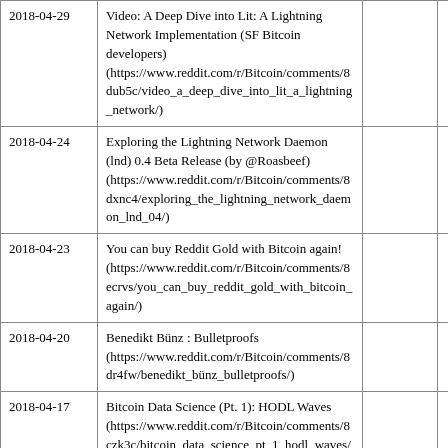| 2018-04-29 | Video: A Deep Dive into Lit: A Lightning Network Implementation (SF Bitcoin developers) (https://www.reddit.com/r/Bitcoin/comments/8dub5c/video_a_deep_dive_into_lit_a_lightning_network/) |  |  |
| 2018-04-24 | Exploring the Lightning Network Daemon (lnd) 0.4 Beta Release (by @Roasbeef) (https://www.reddit.com/r/Bitcoin/comments/8dxnc4/exploring_the_lightning_network_daemon_lnd_04/) |  |  |
| 2018-04-23 | You can buy Reddit Gold with Bitcoin again! (https://www.reddit.com/r/Bitcoin/comments/8ecrvs/you_can_buy_reddit_gold_with_bitcoin_again/) |  |  |
| 2018-04-20 | Benedikt Bünz : Bulletproofs (https://www.reddit.com/r/Bitcoin/comments/8dr4fw/benedikt_bünz_bulletproofs/) |  |  |
| 2018-04-17 | Bitcoin Data Science (Pt. 1): HODL Waves (https://www.reddit.com/r/Bitcoin/comments/8czk3c/bitcoin_data_science_pt_1_hodl_waves/) |  |  |
| 2018- | Hi r/Bitcoin. I'm Emiliano Pagnotta, Assistant Professor of Finance at Imperial College Business School. I just published a research paper on the fundamental value and the price of Bitcoin (see link). I'm holding an AMA on |  |  |